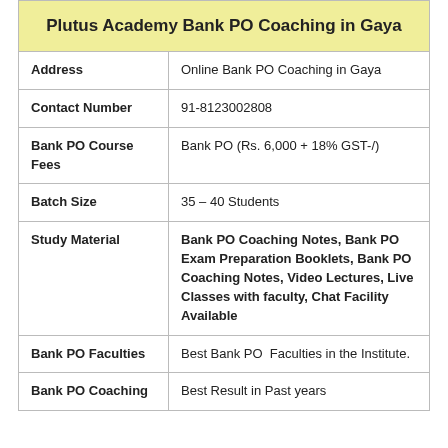Plutus Academy Bank PO Coaching in Gaya
|  |  |
| --- | --- |
| Address | Online Bank PO Coaching in Gaya |
| Contact Number | 91-8123002808 |
| Bank PO Course Fees | Bank PO (Rs. 6,000 + 18% GST-/) |
| Batch Size | 35 – 40 Students |
| Study Material | Bank PO Coaching Notes, Bank PO Exam Preparation Booklets, Bank PO Coaching Notes, Video Lectures, Live Classes with faculty, Chat Facility Available |
| Bank PO Faculties | Best Bank PO  Faculties in the Institute. |
| Bank PO Coaching | Best Result in Past years |